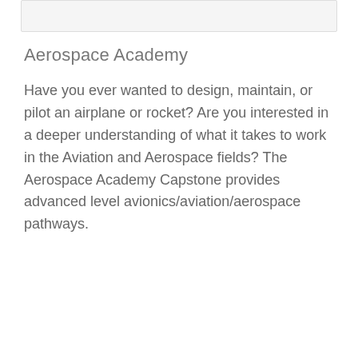[Figure (screenshot): Gray top bar / header strip]
Aerospace Academy
Have you ever wanted to design, maintain, or pilot an airplane or rocket? Are you interested in a deeper understanding of what it takes to work in the Aviation and Aerospace fields? The Aerospace Academy Capstone provides advanced level avionics/aviation/aerospace pathways.
[Figure (screenshot): Course card showing 'Aerospace Academy' title and 'Learn more about this course' subtitle, with dark up/down navigation buttons on the right side]